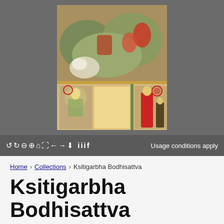[Figure (photo): A Japanese Buddhist painting showing Ksitigarbha Bodhisattva. The upper portion shows figures in a landscape with colorful robes and natural scenery. The lower portion shows a seated Buddha figure on the left, a blank rectangular tan panel in the center, and standing figures in red robes on the right.]
ↂↃQQ⌂✕←→⬇ IIIF    Usage conditions apply
Home › Collections › Ksitigarbha Bodhisattva
Ksitigarbha Bodhisattva